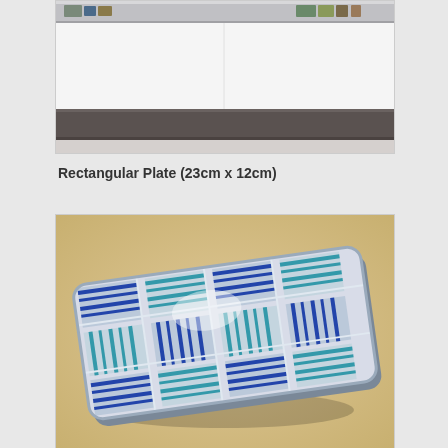[Figure (photo): Top portion of a photo showing a shelf or display unit with metallic frame, white background, and a dark horizontal band at the bottom.]
Rectangular Plate (23cm x 12cm)
[Figure (photo): Photo of a rectangular glass fused plate with blue, teal, and white striped basket-weave pattern, placed on a beige background.]